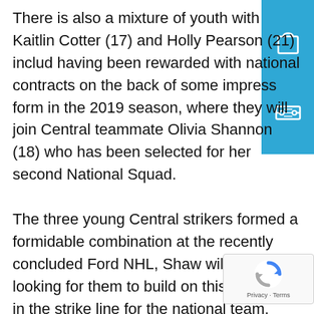There is also a mixture of youth with Kaitlin Cotter (17) and Holly Pearson (21) includ having been rewarded with national contracts on the back of some impress form in the 2019 season, where they will join Central teammate Olivia Shannon (18) who has been selected for her second National Squad. The three young Central strikers formed a formidable combination at the recently concluded Ford NHL, Shaw will be looking for them to build on this chemistry in the strike line for the national team. The side will again be led by Stacey
[Figure (other): Blue sidebar panel with shopping bag icon and ticket icon]
[Figure (other): Google reCAPTCHA badge with spinning arrows logo and Privacy - Terms text]